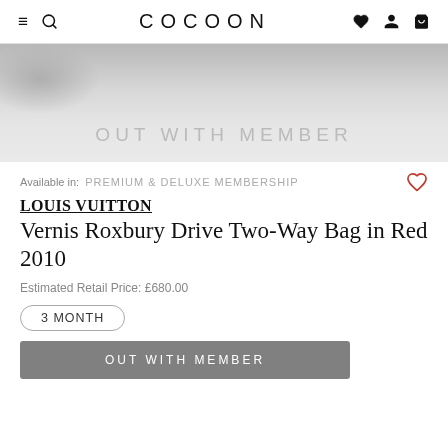≡  🔍  COCOON  ♥  👤  🛍
[Figure (photo): Blurred grey product image with 'OUT WITH MEMBER' text overlay on light grey background]
Available in:  PREMIUM & DELUXE MEMBERSHIP
LOUIS VUITTON
Vernis Roxbury Drive Two-Way Bag in Red 2010
Estimated Retail Price: £680.00
3 MONTH
OUT WITH MEMBER